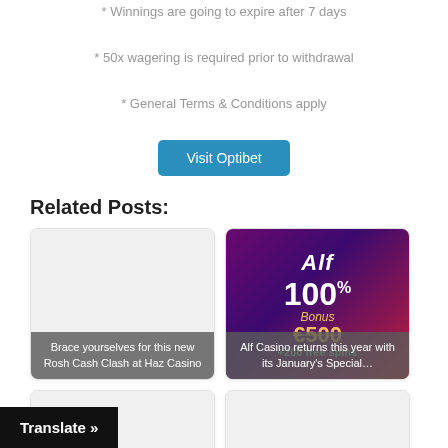* Winnings are going to expire after 7 days
* 50x wagering is required prior to withdrawal
* General Terms & Conditions apply
Visit Optibet
Related Posts:
[Figure (photo): Card: Brace yourselves for this new Rosh Cash Clash at Haz Casino - blank image placeholder with grey caption overlay]
[Figure (photo): Card: Alf Casino returns this year with its January's Special... - promotional image showing 100% bonus up to €500 +200 free spins]
[Figure (photo): Card: £30,000 awaits in the... - partially visible]
[Figure (photo): Card: Rock Heaven - partially visible]
Translate »